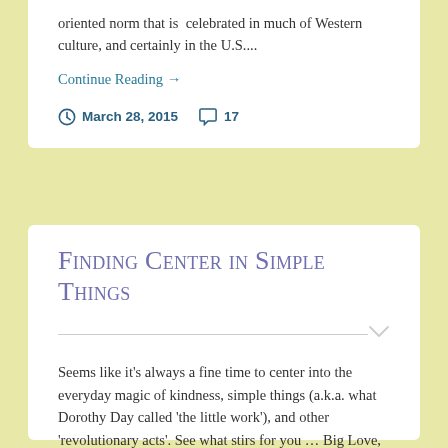oriented norm that is  celebrated in much of Western culture, and certainly in the U.S....
Continue Reading →
March 28, 2015   17
Finding Center in Simple Things
Seems like it's always a fine time to center into the everyday magic of kindness, simple things (a.k.a. what Dorothy Day called 'the little work'), and other 'revolutionary acts'. See what stirs for you … Big Love, Jamie